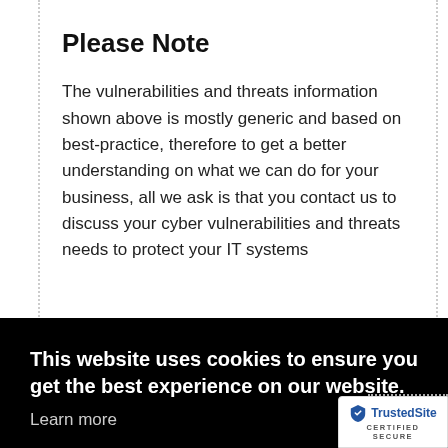Please Note
The vulnerabilities and threats information shown above is mostly generic and based on best-practice, therefore to get a better understanding on what we can do for your business, all we ask is that you contact us to discuss your cyber vulnerabilities and threats needs to protect your IT systems
This website uses cookies to ensure you get the best experience on our website.
Learn more
Got it!